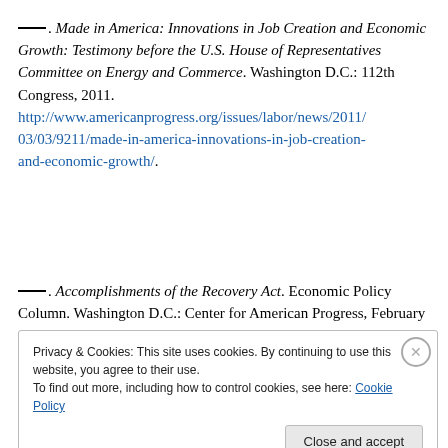———. Made in America: Innovations in Job Creation and Economic Growth: Testimony before the U.S. House of Representatives Committee on Energy and Commerce. Washington D.C.: 112th Congress, 2011. http://www.americanprogress.org/issues/labor/news/2011/03/03/9211/made-in-america-innovations-in-job-creation-and-economic-growth/.
———. Accomplishments of the Recovery Act. Economic Policy Column. Washington D.C.: Center for American Progress, February 16, 2011.
Privacy & Cookies: This site uses cookies. By continuing to use this website, you agree to their use. To find out more, including how to control cookies, see here: Cookie Policy